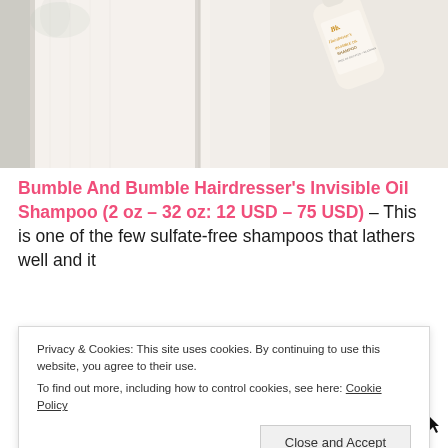[Figure (photo): Photo of a Bumble and Bumble Hairdresser's Invisible Oil Shampoo bottle lying on white fluffy towels on a light marble surface]
Bumble And Bumble Hairdresser's Invisible Oil Shampoo (2 oz – 32 oz: 12 USD – 75 USD) – This is one of the few sulfate-free shampoos that lathers well and it s a well for oily skin e especially for the
Privacy & Cookies: This site uses cookies. By continuing to use this website, you agree to their use. To find out more, including how to control cookies, see here: Cookie Policy
Close and Accept